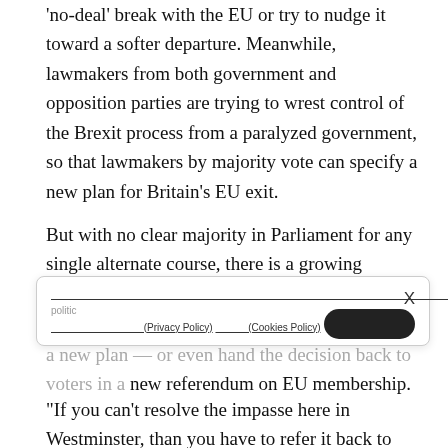'no-deal' break with the EU or try to nudge it toward a softer departure. Meanwhile, lawmakers from both government and opposition parties are trying to wrest control of the Brexit process from a paralyzed government, so that lawmakers by majority vote can specify a new plan for Britain's EU exit.
But with no clear majority in Parliament for any single alternate course, there is a growing chance that Britain may [popup overlay covering text] a new plan — or even hand the decision back to voters in a new referendum on EU membership.
“If you can’t resolve the impasse here in Westminster, than you have to refer it back to the people,” said Labour Party lawmaker Chuka Umunna, who supports a second referendum.
May, who had postponed a vote on the deal in December to